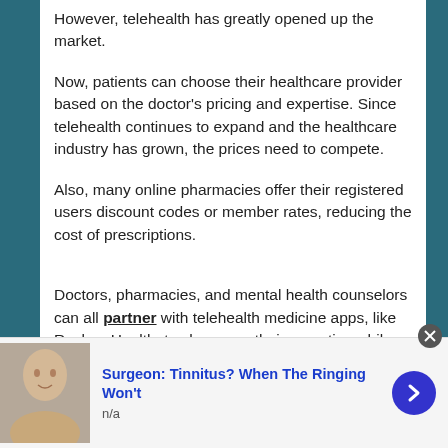However, telehealth has greatly opened up the market.
Now, patients can choose their healthcare provider based on the doctor's pricing and expertise. Since telehealth continues to expand and the healthcare industry has grown, the prices need to compete.
Also, many online pharmacies offer their registered users discount codes or member rates, reducing the cost of prescriptions.
Doctors, pharmacies, and mental health counselors can all partner with telehealth medicine apps, like Ravkoo Health, to showcase their expertise while offering affordable prices for the consumer.
Surgeon: Tinnitus? When The Ringing Won't
n/a